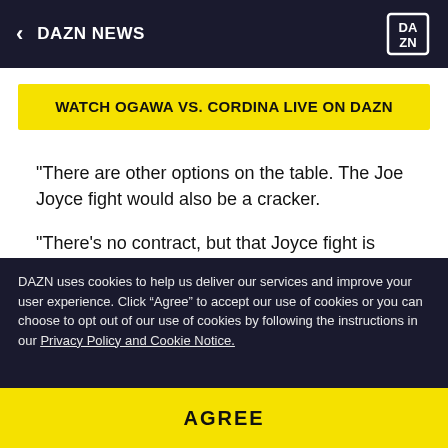DAZN NEWS
WATCH OGAWA VS. CORDINA LIVE ON DAZN
"There are other options on the table. The Joe Joyce fight would also be a cracker.
"There's no contract, but that Joyce fight is close to being contracted and the date has been discussed.
"Either one, Joe Joyce or Dillian Whyte would be a big
DAZN uses cookies to help us deliver our services and improve your user experience. Click “Agree” to accept our use of cookies or you can choose to opt out of our use of cookies by following the instructions in our Privacy Policy and Cookie Notice.
AGREE